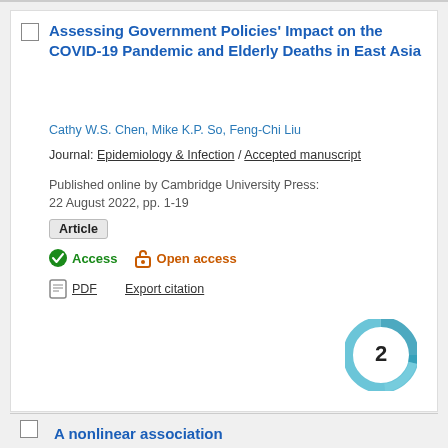Assessing Government Policies' Impact on the COVID-19 Pandemic and Elderly Deaths in East Asia
Cathy W.S. Chen, Mike K.P. So, Feng-Chi Liu
Journal: Epidemiology & Infection / Accepted manuscript
Published online by Cambridge University Press: 22 August 2022, pp. 1-19
Article
Access  Open access
PDF  Export citation
[Figure (other): Altmetric donut badge showing citation count of 2]
A nonlinear association